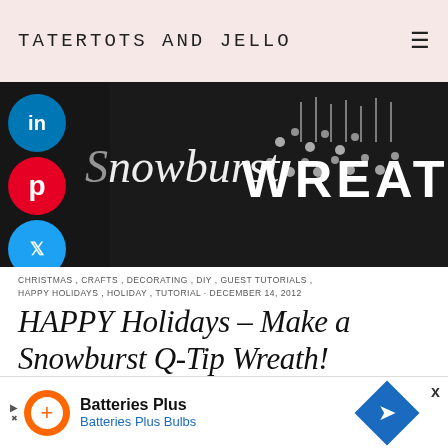TATERTOTS AND JELLO
[Figure (photo): Dark background photo showing a Snowburst Q-Tip Wreath with white text overlay reading 'Snowburst WREATH']
CHRISTMAS, CRAFTS, DECORATING, DIY, GUEST TUTORIALS, HAPPY HOLIDAYS, HOLIDAY, TUTORIAL · DECEMBER 14, 2012
HAPPY Holidays – Make a Snowburst Q-Tip Wreath!
It is always such an honor to get to hang out at Tatertots and Jello! I'm Kendra from My Insanity. I
[Figure (other): Advertisement for Batteries Plus Bulbs with orange logo, company name, and blue diamond navigation icon]